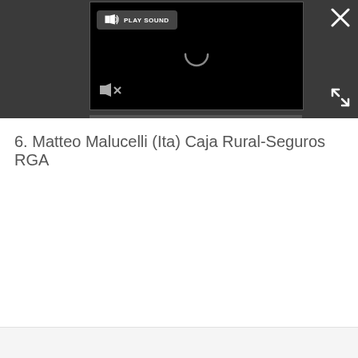[Figure (screenshot): A dark-themed video player interface embedded in a dark gray bar. The player shows a black video area with a circular loading spinner in the center, a 'PLAY SOUND' button with a speaker icon in the top-left of the player, and a muted speaker icon in the bottom-left. A close button (X) is in the top-right corner of the dark bar, and an expand/fullscreen icon is in the bottom-right corner.]
6. Matteo Malucelli (Ita) Caja Rural-Seguros RGA